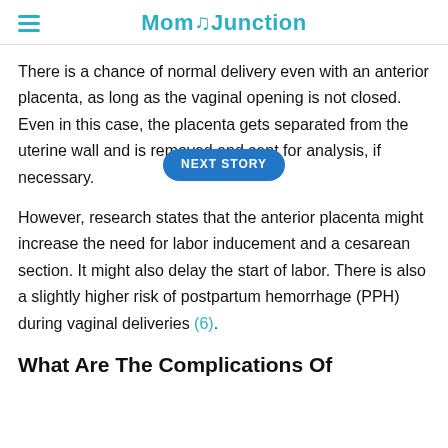MomJunction
There is a chance of normal delivery even with an anterior placenta, as long as the vaginal opening is not closed. Even in this case, the placenta gets separated from the uterine wall and is removed and sent for analysis, if necessary.
However, research states that the anterior placenta might increase the need for labor inducement and a cesarean section. It might also delay the start of labor. There is also a slightly higher risk of postpartum hemorrhage (PPH) during vaginal deliveries (6).
What Are The Complications Of